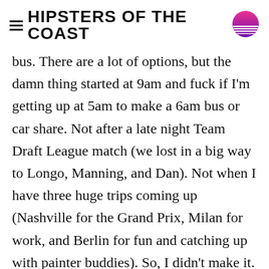HIPSTERS OF THE COAST
bus. There are a lot of options, but the damn thing started at 9am and fuck if I'm getting up at 5am to make a 6am bus or car share. Not after a late night Team Draft League match (we lost in a big way to Longo, Manning, and Dan). Not when I have three huge trips coming up (Nashville for the Grand Prix, Milan for work, and Berlin for fun and catching up with painter buddies). So, I didn't make it. I hear Li is stomping people with [casthaven]Nimble Mongoose[/casthaven] and being reminded